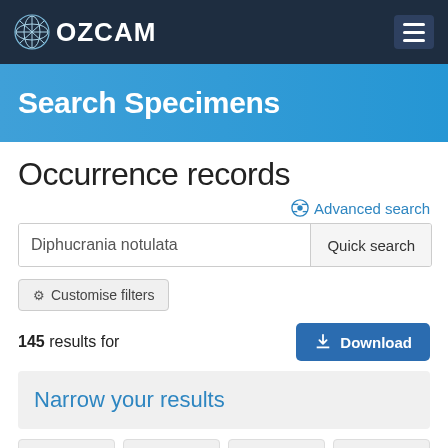OZCAM
Search Specimens
Occurrence records
Advanced search
Diphucrania notulata
Quick search
✦ Customise filters
145 results for
Download
Narrow your results